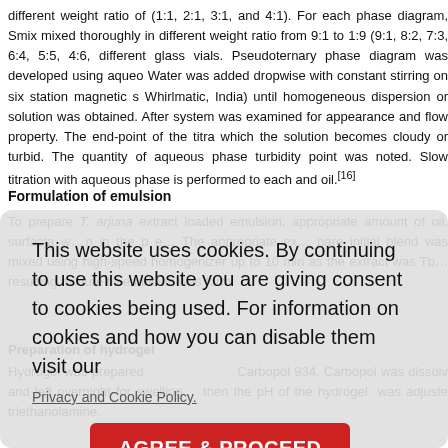different weight ratio of (1:1, 2:1, 3:1, and 4:1). For each phase diagram, Smix mixed thoroughly in different weight ratio from 9:1 to 1:9 (9:1, 8:2, 7:3, 6:4, 5:5, 4:6, different glass vials. Pseudoternary phase diagram was developed using aqueo Water was added dropwise with constant stirring on six station magnetic s Whirlmatic, India) until homogeneous dispersion or solution was obtained. After system was examined for appearance and flow property. The end-point of the titra which the solution becomes cloudy or turbid. The quantity of aqueous phase turbidity point was noted. Slow titration with aqueous phase is performed to each and oil.[16]
Formulation of emulsion
To prepare T. arjuna extract loaded emulsion, appropriate amount of oil, surfacta w... n in the p e... The appropriate ex... pare initial blend was mixed using high-speed homogenizer up to 10 min as the extract was Tb... on was form
This website uses cookies. By continuing to use this website you are giving consent to cookies being used. For information on cookies and how you can disable them visit our
Privacy and Cookie Policy.
AGREE & PROCEED
Preparation of hydrogel
Hydrogel was prepared using Carbopol 934. Carbopol was dissolv and left overnight for swelling then the pH of the hydrogel was adjuste triethanolamine.